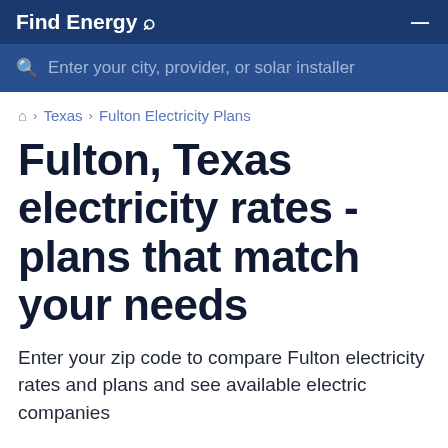Find Energy —
Enter your city, provider, or solar installer
🏠 › Texas › Fulton Electricity Plans
Fulton, Texas electricity rates - plans that match your needs
Enter your zip code to compare Fulton electricity rates and plans and see available electric companies